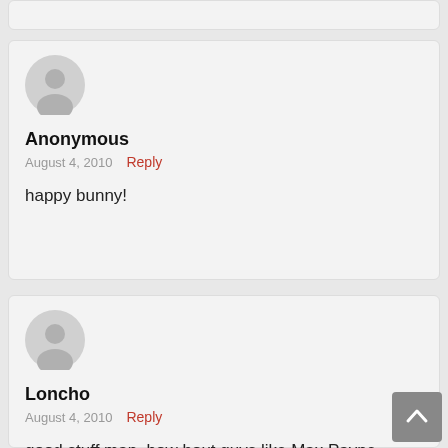[Figure (other): Partial comment card at top of page (cropped)]
[Figure (other): Generic user avatar - grey silhouette circle for Anonymous commenter]
Anonymous
August 4, 2010   Reply
happy bunny!
[Figure (other): Generic user avatar - grey silhouette circle for Loncho commenter]
Loncho
August 4, 2010   Reply
good stuff man..how bout guys like Max Payne,